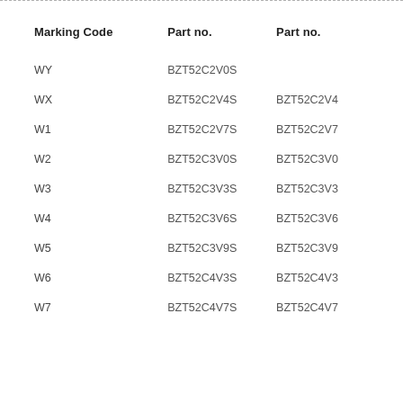| Marking Code | Part no. | Part no. |
| --- | --- | --- |
| WY | BZT52C2V0S |  |
| WX | BZT52C2V4S | BZT52C2V4 |
| W1 | BZT52C2V7S | BZT52C2V7 |
| W2 | BZT52C3V0S | BZT52C3V0 |
| W3 | BZT52C3V3S | BZT52C3V3 |
| W4 | BZT52C3V6S | BZT52C3V6 |
| W5 | BZT52C3V9S | BZT52C3V9 |
| W6 | BZT52C4V3S | BZT52C4V3 |
| W7 | BZT52C4V7S | BZT52C4V7 |